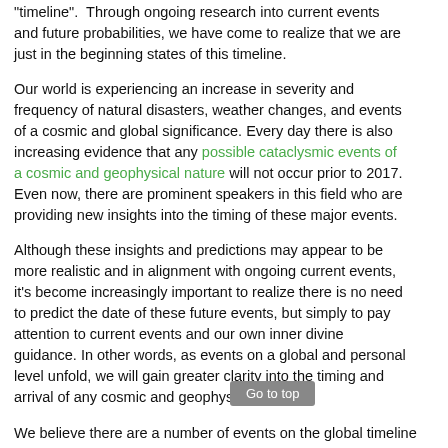"timeline". Through ongoing research into current events and future probabilities, we have come to realize that we are just in the beginning states of this timeline.
Our world is experiencing an increase in severity and frequency of natural disasters, weather changes, and events of a cosmic and global significance. Every day there is also increasing evidence that any possible cataclysmic events of a cosmic and geophysical nature will not occur prior to 2017. Even now, there are prominent speakers in this field who are providing new insights into the timing of these major events.
Although these insights and predictions may appear to be more realistic and in alignment with ongoing current events, it's become increasingly important to realize there is no need to predict the date of these future events, but simply to pay attention to current events and our own inner divine guidance. In other words, as events on a global and personal level unfold, we will gain greater clarity into the timing and arrival of any cosmic and geophysical events.
We believe there are a number of events on the global timeline